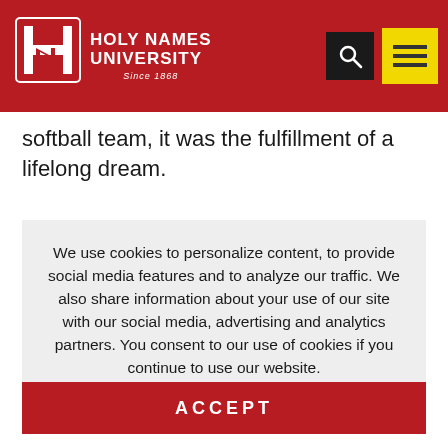Holy Names University Since 1868
softball team, it was the fulfillment of a lifelong dream.
We use cookies to personalize content, to provide social media features and to analyze our traffic. We also share information about your use of our site with our social media, advertising and analytics partners. You consent to our use of cookies if you continue to use our website.
ACCEPT